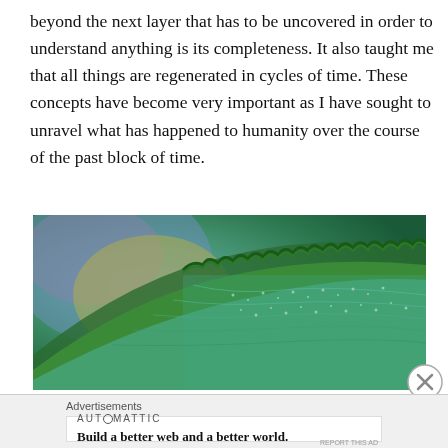beyond the next layer that has to be uncovered in order to understand anything is its completeness. It also taught me that all things are regenerated in cycles of time. These concepts have become very important as I have sought to unravel what has happened to humanity over the course of the past block of time.
[Figure (photo): Close-up macro photograph of what appears to be coral or a textured natural surface in shades of green and teal, with blurred colorful background.]
Advertisements
AUTOMATTIC
Build a better web and a better world.